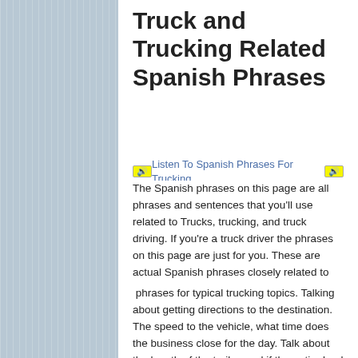Truck and Trucking Related Spanish Phrases
[Figure (other): Yellow speaker/audio icon]
Listen To Spanish Phrases For Trucking
[Figure (other): Yellow speaker/audio icon]
The Spanish phrases on this page are all phrases and sentences that you'll use related to Trucks, trucking, and truck driving. If you're a truck driver the phrases on this page are just for you. These are actual Spanish phrases closely related to the trucking industry and truck driving. Listen to native-recorded Spanish
phrases for typical trucking topics. Talking about getting directions to the destination. The speed to the vehicle, what time does the business close for the day. Talk about the length of the trailer, and if the entire load will be able to fit. Also equipment failure like a